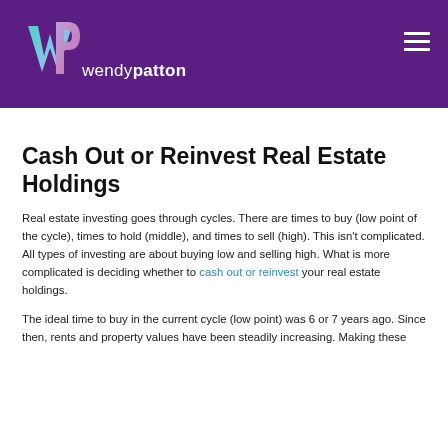wendypatton
Cash Out or Reinvest Real Estate Holdings
Real estate investing goes through cycles. There are times to buy (low point of the cycle), times to hold (middle), and times to sell (high). This isn't complicated. All types of investing are about buying low and selling high. What is more complicated is deciding whether to cash out or reinvest your real estate holdings.
The ideal time to buy in the current cycle (low point) was 6 or 7 years ago. Since then, rents and property values have been steadily increasing. Making these